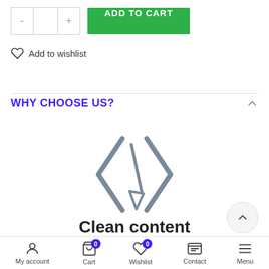[Figure (screenshot): E-commerce product page showing quantity selector with minus and plus buttons, and a green ADD TO CART button]
Add to wishlist
WHY CHOOSE US?
[Figure (illustration): Gray icon of angle brackets (< >) with a broom/sweep icon in the center, representing clean code or content]
Clean content
My account  Cart  Wishlist  Contact  Menu